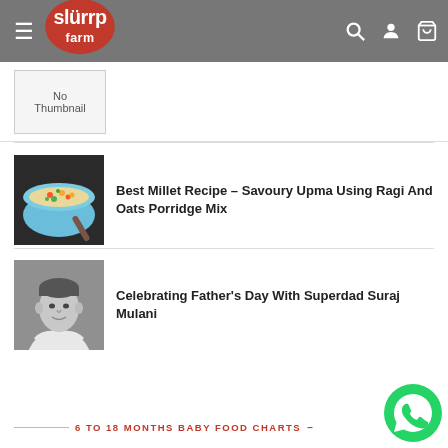Slurrp Farm – navigation header with logo, hamburger menu, search, account, and cart icons
[Figure (photo): No Thumbnail placeholder image]
[Figure (photo): Photo of a bowl of savoury upma with colorful vegetables]
Best Millet Recipe – Savoury Upma Using Ragi And Oats Porridge Mix
[Figure (photo): Black and white photo of Suraj Mulani]
Celebrating Father's Day With Superdad Suraj Mulani
6 TO 18 MONTHS BABY FOOD CHARTS –
[Figure (photo): WhatsApp contact button (green circle with phone icon)]